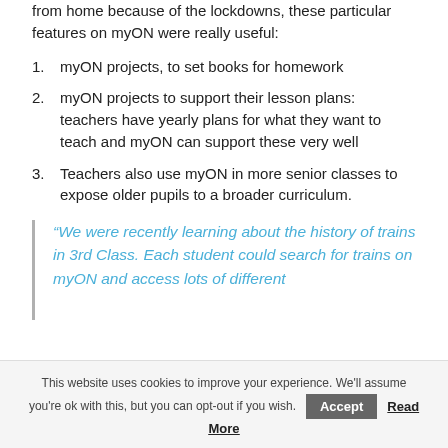from home because of the lockdowns, these particular features on myON were really useful:
myON projects, to set books for homework
myON projects to support their lesson plans: teachers have yearly plans for what they want to teach and myON can support these very well
Teachers also use myON in more senior classes to expose older pupils to a broader curriculum.
“We were recently learning about the history of trains in 3rd Class. Each student could search for trains on myON and access lots of different
This website uses cookies to improve your experience. We'll assume you're ok with this, but you can opt-out if you wish. Accept Read More